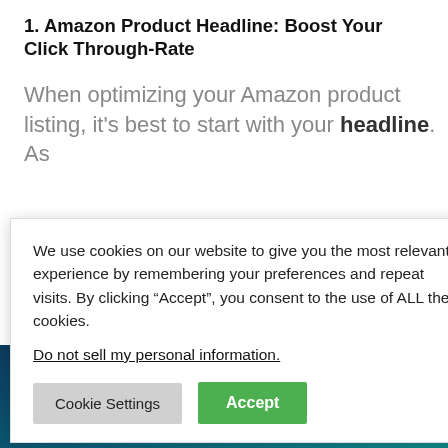1. Amazon Product Headline: Boost Your Click Through-Rate
When optimizing your Amazon product listing, it's best to start with your headline. As [partially visible] licks.
We use cookies on our website to give you the most relevant experience by remembering your preferences and repeat visits. By clicking “Accept”, you consent to the use of ALL the cookies.
Do not sell my personal information.
Cookie Settings | Accept
anding page
ea here.
visitor’s
k on your
We’ll increase your conversions by 20-100%
CLAIM YOUR FREE AUDIT NOW